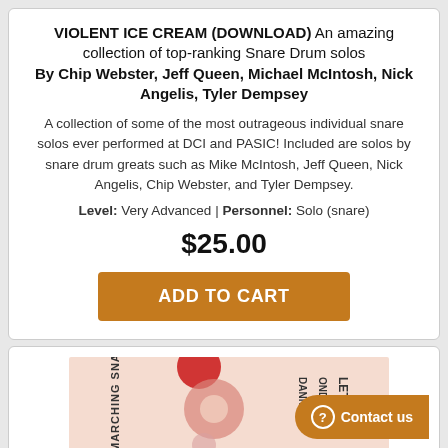VIOLENT ICE CREAM (DOWNLOAD) An amazing collection of top-ranking Snare Drum solos By Chip Webster, Jeff Queen, Michael McIntosh, Nick Angelis, Tyler Dempsey
A collection of some of the most outrageous individual snare solos ever performed at DCI and PASIC! Included are solos by snare drum greats such as Mike McIntosh, Jeff Queen, Nick Angelis, Chip Webster, and Tyler Dempsey.
Level: Very Advanced | Personnel: Solo (snare)
$25.00
ADD TO CART
[Figure (photo): Book cover for 'Danny Mond - Let It Rip: Marching Snare Solo' shown partially at the bottom of the page]